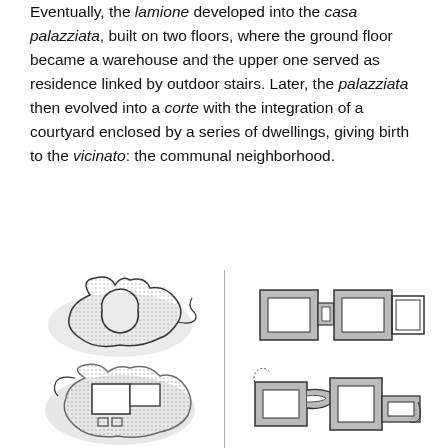Eventually, the lamione developed into the casa palazziata, built on two floors, where the ground floor became a warehouse and the upper one served as residence linked by outdoor stairs. Later, the palazziata then evolved into a corte with the integration of a courtyard enclosed by a series of dwellings, giving birth to the vicinato: the communal neighborhood.
[Figure (illustration): Top-left: plan/section sketch of a lamione – an irregular organic teardrop/flask-shaped structure with dotted texture indicating rubble or earth walls]
[Figure (illustration): Top-right: plan sketch of a casa palazziata – two rectangular rooms connected side by side with thick walls shown in grey hatching]
[Figure (illustration): Bottom-left: plan/section sketch of a more developed palazziata with added rectangular rooms and small windows indicated]
[Figure (illustration): Bottom-right: plan sketch of a corte arrangement – rooms arranged around a connecting passage/courtyard with grey hatched walls]